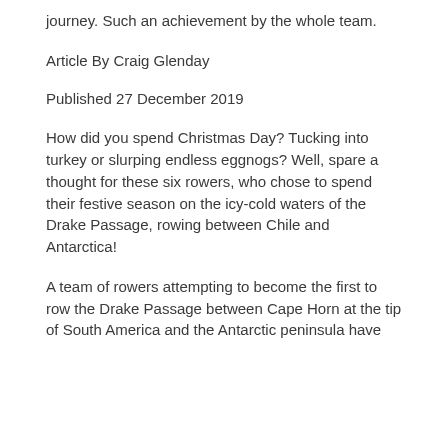journey.  Such an achievement by the whole team.
Article By Craig Glenday
Published 27 December 2019
How did you spend Christmas Day? Tucking into turkey or slurping endless eggnogs? Well, spare a thought for these six rowers, who chose to spend their festive season on the icy-cold waters of the Drake Passage, rowing between Chile and Antarctica!
A team of rowers attempting to become the first to row the Drake Passage between Cape Horn at the tip of South America and the Antarctic peninsula have
We use cookies to ensure that we give you the best experience on our website. If you continue to use this site we will assume that you are happy with it.
Ok